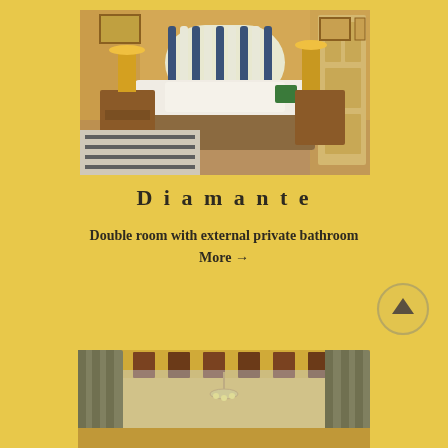[Figure (photo): Interior photo of a double bedroom with a striped upholstered headboard, white bedding with brown throw, ornate tiled floor, wooden nightstands with lamps, and framed artwork on walls.]
Diamante
Double room with external private bathroom
More →
[Figure (photo): Interior photo of a room with exposed wooden beam ceiling, chandelier, draped curtains, and yellow-toned walls.]